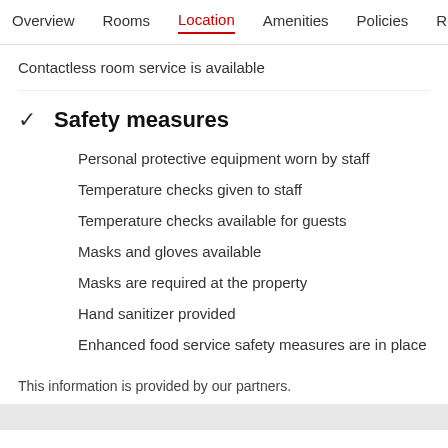Overview   Rooms   Location   Amenities   Policies   Reviews
Contactless room service is available
✓  Safety measures
Personal protective equipment worn by staff
Temperature checks given to staff
Temperature checks available for guests
Masks and gloves available
Masks are required at the property
Hand sanitizer provided
Enhanced food service safety measures are in place
This information is provided by our partners.
At a glance